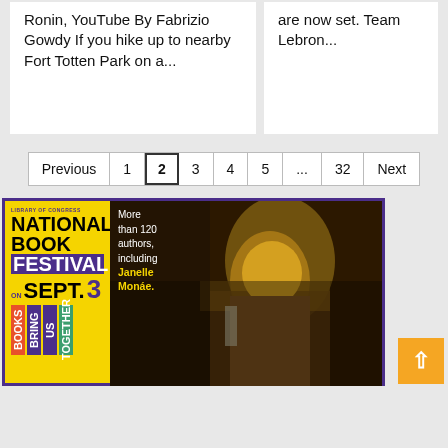Ronin, YouTube By Fabrizio Gowdy If you hike up to nearby Fort Totten Park on a...
are now set. Team Lebron...
Previous 1 2 3 4 5 ... 32 Next
[Figure (photo): National Book Festival advertisement banner featuring Janelle Monae. Yellow left panel with purple text showing 'Library of Congress National Book Festival on Sept. 3 Books Bring Us Together'. Right panel shows photo of Janelle Monae with text 'More than 120 authors, including Janelle Monae.']